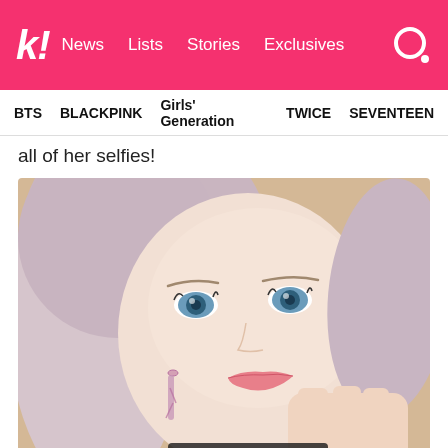k! News Lists Stories Exclusives
BTS BLACKPINK Girls' Generation TWICE SEVENTEEN
all of her selfies!
[Figure (photo): Close-up selfie of a young woman with light blonde/pink hair, blue contact lenses, pink dangling earrings, resting her hand on her cheek and making a slight pout expression, wearing a black choker necklace]